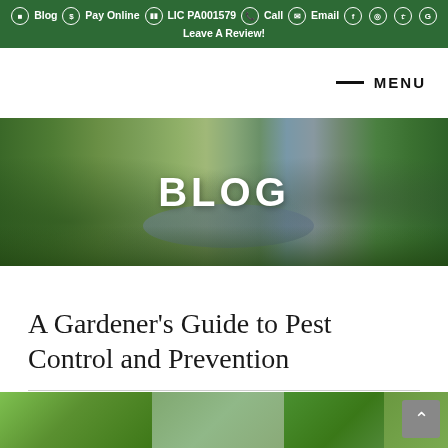Blog  Pay Online  LIC PA001579  Call  Email  Leave A Review!
MENU
[Figure (photo): Garden pond scene with green grass, reeds, rocks and water with the word BLOG overlaid in white bold text]
A Gardener’s Guide to Pest Control and Prevention
[Figure (photo): Partial view of a garden image strip at the bottom of the page showing green foliage in multiple color segments]